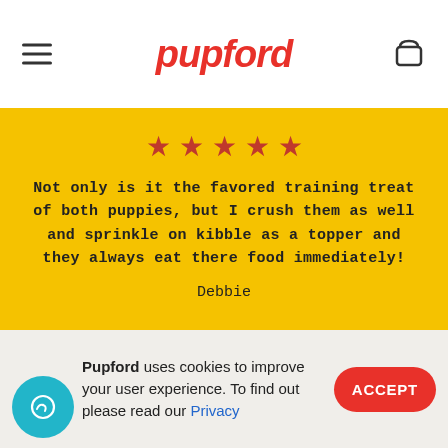pupford
★★★★★
Not only is it the favored training treat of both puppies, but I crush them as well and sprinkle on kibble as a topper and they always eat there food immediately!

Debbie
★★★★★
I just got a new dog and she was being
Pupford uses cookies to improve your user experience. To find out please read our Privacy